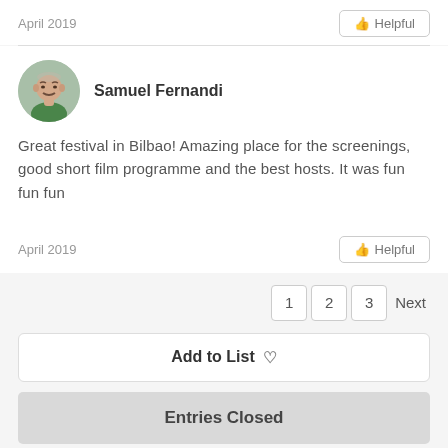April 2019
Helpful
Samuel Fernandi
Great festival in Bilbao! Amazing place for the screenings, good short film programme and the best hosts. It was fun fun fun
April 2019
Helpful
1  2  3  Next
Add to List ♡
Entries Closed